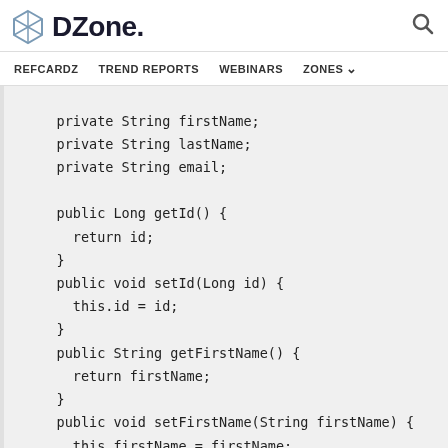DZone. [search icon]
REFCARDZ  TREND REPORTS  WEBINARS  ZONES
private String firstName;
private String lastName;
private String email;

public Long getId() {
 return id;
}
public void setId(Long id) {
 this.id = id;
}
public String getFirstName() {
 return firstName;
}
public void setFirstName(String firstName) {
 this.firstName = firstName;
}
public String getLastName() {
 return lastName;
  return lastName;